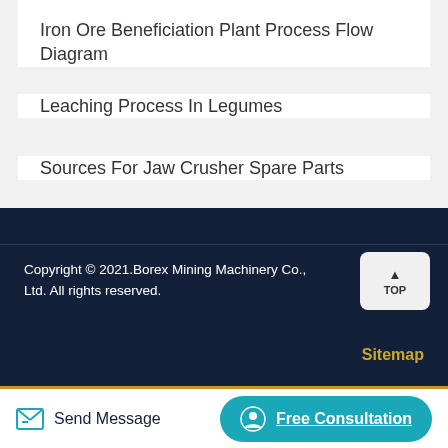Iron Ore Beneficiation Plant Process Flow Diagram
Leaching Process In Legumes
Sources For Jaw Crusher Spare Parts
Crusher Companies In South Africa In Fujairah Uae
Copyright © 2021.Borex Mining Machinery Co., Ltd. All rights reserved.
Sitemap